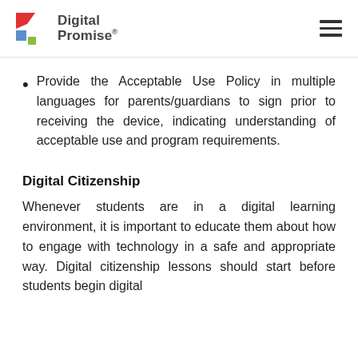Digital Promise
Provide the Acceptable Use Policy in multiple languages for parents/guardians to sign prior to receiving the device, indicating understanding of acceptable use and program requirements.
Digital Citizenship
Whenever students are in a digital learning environment, it is important to educate them about how to engage with technology in a safe and appropriate way. Digital citizenship lessons should start before students begin digital